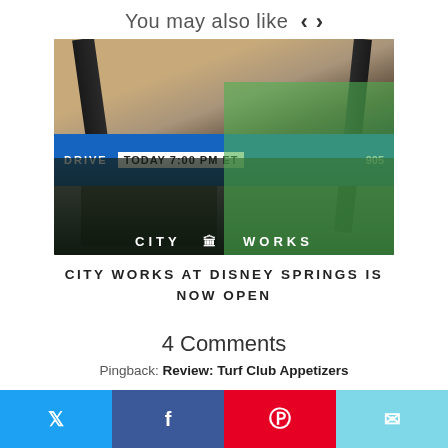You may also like
[Figure (photo): Exterior of City Works restaurant at Disney Springs showing a large LED scoreboard reading 'DRIVE TODAY 7:00 PM ET' and a City Works sign below]
CITY WORKS AT DISNEY SPRINGS IS NOW OPEN
4 Comments
Pingback: Review: Turf Club Appetizers
[Figure (infographic): Social share buttons: Twitter (blue), Facebook (dark blue), Pinterest (red), Email (light blue)]